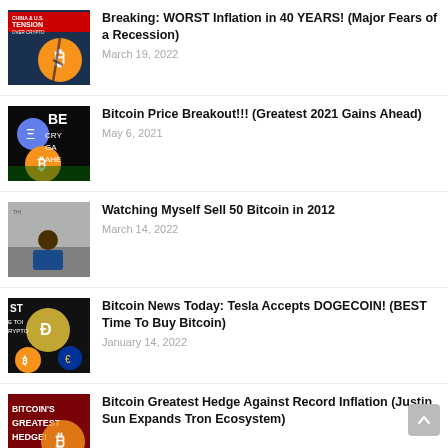Breaking: WORST Inflation in 40 YEARS! (Major Fears of a Recession)
March 19, 2022
Bitcoin Price Breakout!!! (Greatest 2021 Gains Ahead)
May 6, 2021
Watching Myself Sell 50 Bitcoin in 2012
March 14, 2022
Bitcoin News Today: Tesla Accepts DOGECOIN! (BEST Time To Buy Bitcoin)
January 14, 2022
Bitcoin Greatest Hedge Against Record Inflation (Justin Sun Expands Tron Ecosystem)